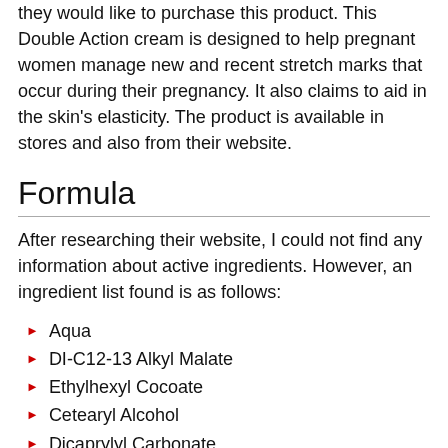they would like to purchase this product. This Double Action cream is designed to help pregnant women manage new and recent stretch marks that occur during their pregnancy. It also claims to aid in the skin's elasticity. The product is available in stores and also from their website.
Formula
After researching their website, I could not find any information about active ingredients. However, an ingredient list found is as follows:
Aqua
DI-C12-13 Alkyl Malate
Ethylhexyl Cocoate
Cetearyl Alcohol
Dicaprylyl Carbonate
Hydrolyzed Soy Protein
Butylene Glycol
Cara Alba...